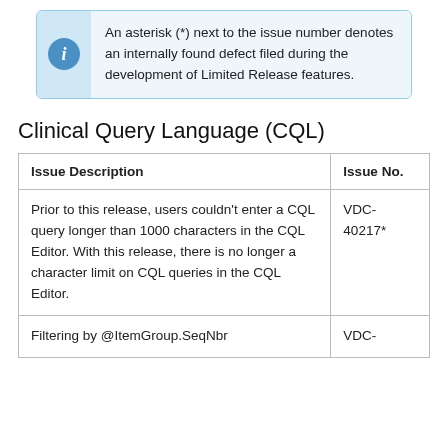An asterisk (*) next to the issue number denotes an internally found defect filed during the development of Limited Release features.
Clinical Query Language (CQL)
| Issue Description | Issue No. |
| --- | --- |
| Prior to this release, users couldn't enter a CQL query longer than 1000 characters in the CQL Editor. With this release, there is no longer a character limit on CQL queries in the CQL Editor. | VDC-40217* |
| Filtering by @ItemGroup.SeqNbr | VDC- |